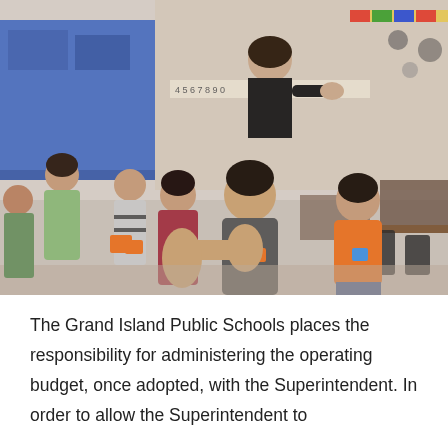[Figure (photo): Elementary school children standing in a classroom, some clapping and interacting. A teacher stands in the background. The classroom has colorful educational decorations on the walls. Children are wearing name tags/lanyards.]
The Grand Island Public Schools places the responsibility for administering the operating budget, once adopted, with the Superintendent. In order to allow the Superintendent to